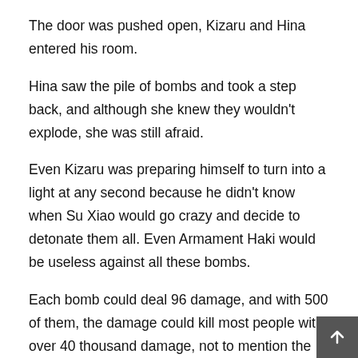The door was pushed open, Kizaru and Hina entered his room.
Hina saw the pile of bombs and took a step back, and although she knew they wouldn't explode, she was still afraid.
Even Kizaru was preparing himself to turn into a light at any second because he didn't know when Su Xiao would go crazy and decide to detonate them all. Even Armament Haki would be useless against all these bombs.
Each bomb could deal 96 damage, and with 500 of them, the damage could kill most people with over 40 thousand damage, not to mention the heat that will be produced with that kind of explosion.